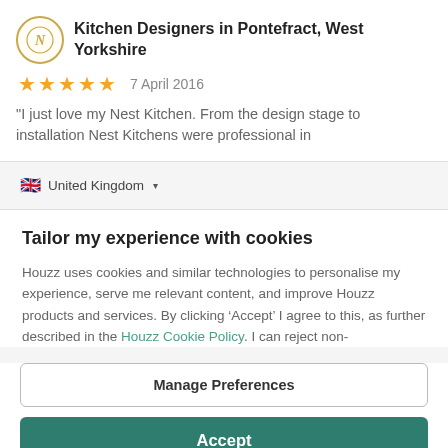Kitchen Designers in Pontefract, West Yorkshire
★★★★★  7 April 2016
“I just love my Nest Kitchen. From the design stage to installation Nest Kitchens were professional in
🇬🇧  United Kingdom ▾
Tailor my experience with cookies
Houzz uses cookies and similar technologies to personalise my experience, serve me relevant content, and improve Houzz products and services. By clicking ‘Accept’ I agree to this, as further described in the Houzz Cookie Policy. I can reject non-
Manage Preferences
Accept